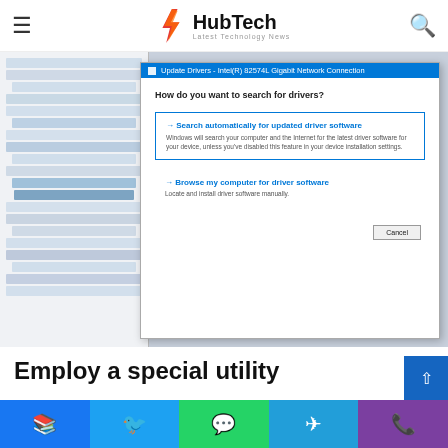HubTech — Latest Technology News
[Figure (screenshot): Windows Update Drivers dialog box showing options: 'Search automatically for updated driver software' and 'Browse my computer for driver software', overlaid on Device Manager window for Intel(R) 82574L Gigabit Network Connection]
Employ a special utility
Social share buttons: Facebook, Twitter, WhatsApp, Telegram, Phone